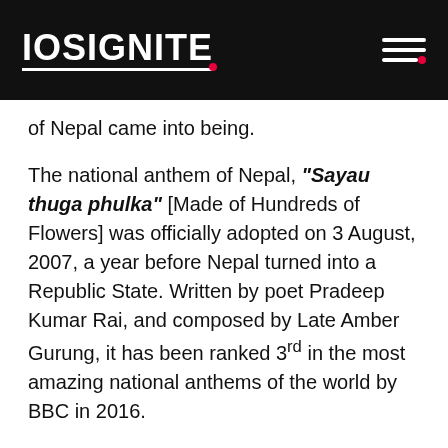IOSIGNITE
of Nepal came into being.
The national anthem of Nepal, “Sayau thuga phulka” [Made of Hundreds of Flowers] was officially adopted on 3 August, 2007, a year before Nepal turned into a Republic State. Written by poet Pradeep Kumar Rai, and composed by Late Amber Gurung, it has been ranked 3rd in the most amazing national anthems of the world by BBC in 2016.
Concept: Nepal’s Largest Ever National Anthem Feat
The objective was to create a crowd sourced national anthem video for Nepal, where every